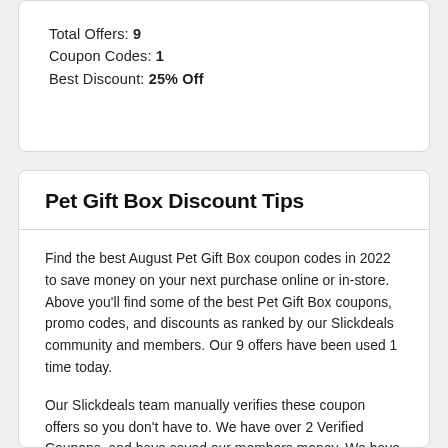Total Offers: 9
Coupon Codes: 1
Best Discount: 25% Off
Pet Gift Box Discount Tips
Find the best August Pet Gift Box coupon codes in 2022 to save money on your next purchase online or in-store. Above you'll find some of the best Pet Gift Box coupons, promo codes, and discounts as ranked by our Slickdeals community and members. Our 9 offers have been used 1 time today.
Our Slickdeals team manually verifies these coupon offers so you don't have to. We have over 2 Verified Coupons, and have saved our members money. We have 1 coupons and codes, 8 sales & discounts on Pet Gift Box. We've saved 30 people over 25% at Pet Gift Box this month! Our most popular coupon and offer was used 450 times and saved 25%. Coupon codes have an expiration date which is to be determined by Pet Gift Box. Make sure to use the